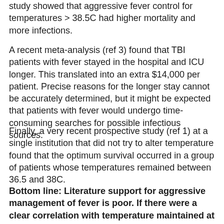study showed that aggressive fever control for temperatures > 38.5C had higher mortality and more infections.
A recent meta-analysis (ref 3) found that TBI patients with fever stayed in the hospital and ICU longer. This translated into an extra $14,000 per patient. Precise reasons for the longer stay cannot be accurately determined, but it might be expected that patients with fever would undergo time-consuming searches for possible infectious sources.
Finally, a very recent prospective study (ref 1) at a single institution that did not try to alter temperature found that the optimum survival occurred in a group of patients whose temperatures remained between 36.5 and 38C.
Bottom line: Literature support for aggressive management of fever is poor. If there were a clear correlation with temperature maintained at or slightly below normal, we'd probably have figured it by now. Fever up to 38 degrees C